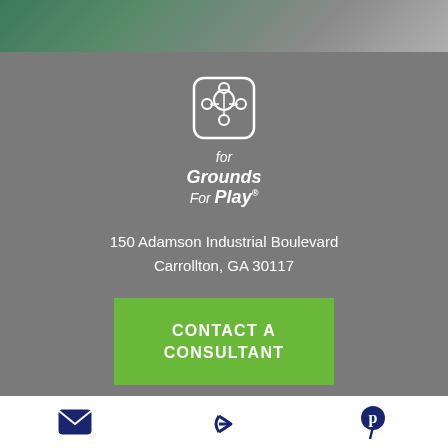[Figure (photo): Top portion of a webpage showing a blurred photo of people outdoors with green and grey tones]
[Figure (logo): Grounds For Play logo - white line-art icon showing children/figures inside a frame, with text 'Grounds For Play' in white italic font below]
150 Adamson Industrial Boulevard
Carrollton, GA 30117
CONTACT A CONSULTANT
ABOUT US
GFP Return Policy
Email icon | Share icon | Pinterest icon